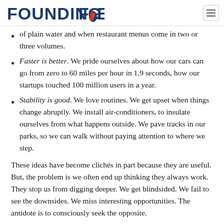FOUNDING FUEL
of plain water and when restaurant menus come in two or three volumes.
Faster is better. We pride ourselves about how our cars can go from zero to 60 miles per hour in 1.9 seconds, how our startups touched 100 million users in a year.
Stability is good. We love routines. We get upset when things change abruptly. We install air-conditioners, to insulate ourselves from what happens outside. We pave tracks in our parks, so we can walk without paying attention to where we step.
These ideas have become clichés in part because they are useful. But, the problem is we often end up thinking they always work. They stop us from digging deeper. We get blindsided. We fail to see the downsides. We miss interesting opportunities. The antidote is to consciously seek the opposite.
Less is more: After Steve Jobs came back to Apple, one